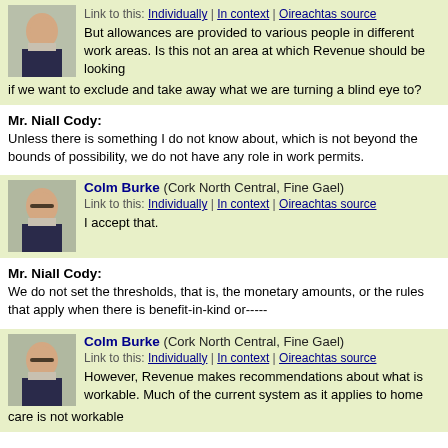Link to this: Individually | In context | Oireachtas source
But allowances are provided to various people in different work areas. Is this not an area at which Revenue should be looking if we want to exclude and take away what we are turning a blind eye to?
Mr. Niall Cody:
Unless there is something I do not know about, which is not beyond the bounds of possibility, we do not have any role in work permits.
Colm Burke (Cork North Central, Fine Gael)
Link to this: Individually | In context | Oireachtas source
I accept that.
Mr. Niall Cody:
We do not set the thresholds, that is, the monetary amounts, or the rules that apply when there is benefit-in-kind or-----
Colm Burke (Cork North Central, Fine Gael)
Link to this: Individually | In context | Oireachtas source
However, Revenue makes recommendations about what is workable. Much of the current system as it applies to home care is not workable